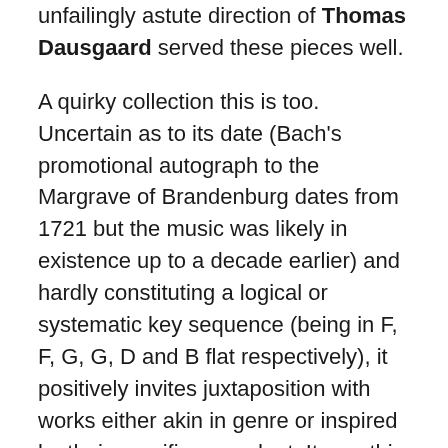unfailingly astute direction of Thomas Dausgaard served these pieces well.
A quirky collection this is too. Uncertain as to its date (Bach's promotional autograph to the Margrave of Brandenburg dates from 1721 but the music was likely in existence up to a decade earlier) and hardly constituting a logical or systematic key sequence (being in F, F, G, G, D and B flat respectively), it positively invites juxtaposition with works either akin in genre or inspired by their specific precedent. It was this latter factor which underlies the present project, with six diverse composers commissioned to write a piece inspired by the Brandenburg in question.
The Brandenburg Project – 1
With its relatively expansive four-movement structure and